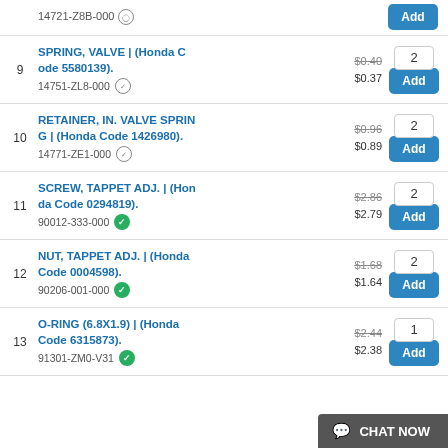14721-Z8B-000 | Add
9 SPRING, VALVE | (Honda Code 5580139). 14751-ZL8-000 | $0.40 $0.37 | Qty: 2 | Add
10 RETAINER, IN. VALVE SPRING | (Honda Code 1426980). 14771-ZE1-000 | $0.96 $0.89 | Qty: 2 | Add
11 SCREW, TAPPET ADJ. | (Honda Code 0294819). 90012-333-000 | $2.86 $2.79 | Qty: 2 | Add
12 NUT, TAPPET ADJ. | (Honda Code 0004598). 90206-001-000 | $1.68 $1.64 | Qty: 2 | Add
13 O-RING (6.8X1.9) | (Honda Code 6315873). 91301-ZM0-V31 | $2.44 $2.38 | Qty: 1 | Add
CHAT NOW